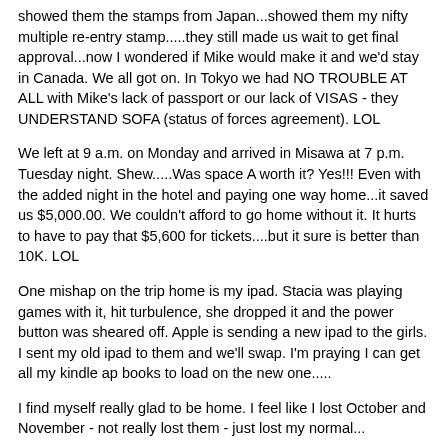showed them the stamps from Japan...showed them my nifty multiple re-entry stamp.....they still made us wait to get final approval...now I wondered if Mike would make it and we'd stay in Canada. We all got on. In Tokyo we had NO TROUBLE AT ALL with Mike's lack of passport or our lack of VISAS - they UNDERSTAND SOFA (status of forces agreement). LOL
We left at 9 a.m. on Monday and arrived in Misawa at 7 p.m. Tuesday night. Shew.....Was space A worth it? Yes!!! Even with the added night in the hotel and paying one way home...it saved us $5,000.00. We couldn't afford to go home without it. It hurts to have to pay that $5,600 for tickets....but it sure is better than 10K. LOL
One mishap on the trip home is my ipad. Stacia was playing games with it, hit turbulence, she dropped it and the power button was sheared off. Apple is sending a new ipad to the girls. I sent my old ipad to them and we'll swap. I'm praying I can get all my kindle ap books to load on the new one.....
I find myself really glad to be home. I feel like I lost October and November - not really lost them - just lost my normal...